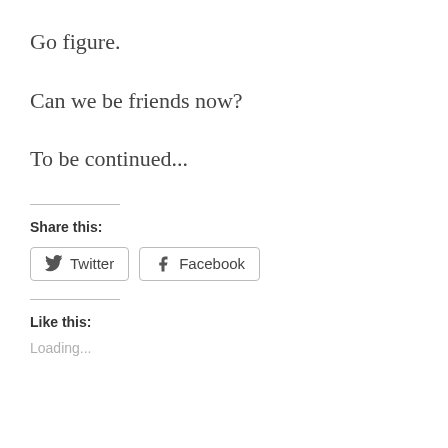Go figure.
Can we be friends now?
To be continued...
Share this:
[Figure (other): Twitter and Facebook share buttons]
Like this:
Loading...